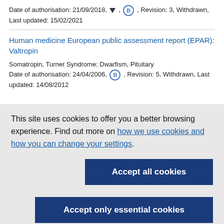Date of authorisation: 21/09/2018, ▼, Ⓑ, Revision: 3, Withdrawn, Last updated: 15/02/2021
Human medicine European public assessment report (EPAR): Valtropin
Somatropin, Turner Syndrome; Dwarfism, Pituitary
Date of authorisation: 24/04/2006, Ⓑ, Revision: 5, Withdrawn, Last updated: 14/08/2012
This site uses cookies to offer you a better browsing experience. Find out more on how we use cookies and how you can change your settings.
Accept all cookies
Accept only essential cookies